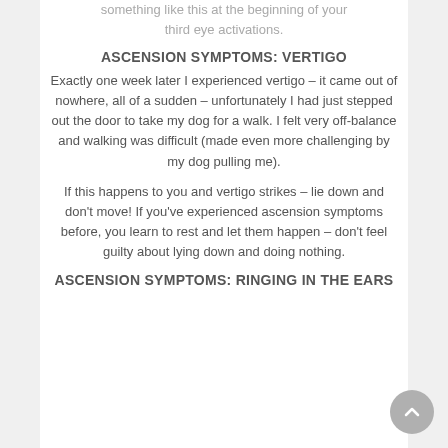something like this at the beginning of your third eye activations.
ASCENSION SYMPTOMS: VERTIGO
Exactly one week later I experienced vertigo – it came out of nowhere, all of a sudden – unfortunately I had just stepped out the door to take my dog for a walk. I felt very off-balance and walking was difficult (made even more challenging by my dog pulling me).
If this happens to you and vertigo strikes – lie down and don't move! If you've experienced ascension symptoms before, you learn to rest and let them happen – don't feel guilty about lying down and doing nothing.
ASCENSION SYMPTOMS: RINGING IN THE EARS